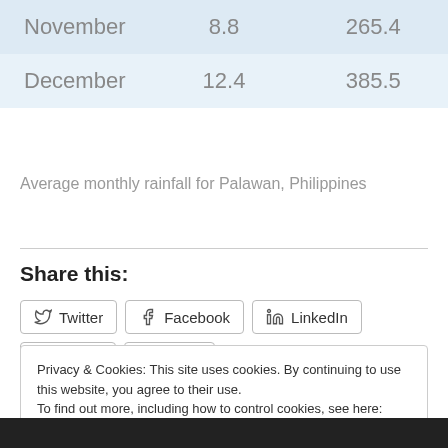| Month | Col2 | Col3 |
| --- | --- | --- |
| November | 8.8 | 265.4 |
| December | 12.4 | 385.5 |
Average monthly rainfall for Palawan, Philippines
Share this:
Twitter | Facebook | LinkedIn | Reddit | Email | Print
Privacy & Cookies: This site uses cookies. By continuing to use this website, you agree to their use. To find out more, including how to control cookies, see here: Cookie Policy. Close and accept